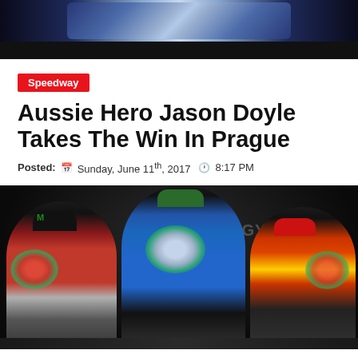[Figure (photo): Top banner image showing speedway/motorcycle racing helmet or trophy graphic with blue and silver tones on dark background]
Speedway
Aussie Hero Jason Doyle Takes The Win In Prague
Posted: Sunday, June 11th, 2017  8:17 PM
[Figure (photo): Podium celebration photo showing three speedway riders with flowers. Center rider (Jason Doyle) stands tallest in blue racing suit and green cap. Left rider in red/black suit with Monster Energy cap. Right rider in red/yellow suit. Background shows SPEEDWAYGP.COM banner and red/white/blue decorative flowers.]